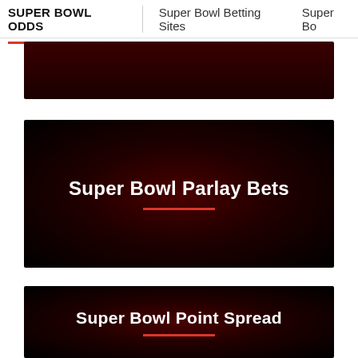SUPER BOWL ODDS | Super Bowl Betting Sites | Super Bo
[Figure (screenshot): Dark red banner image (partially cropped at top)]
[Figure (screenshot): Dark image card with white bold text reading 'Super Bowl Parlay Bets' and a red underline]
[Figure (screenshot): Dark image card with white bold text reading 'Super Bowl Point Spread' and a red underline]